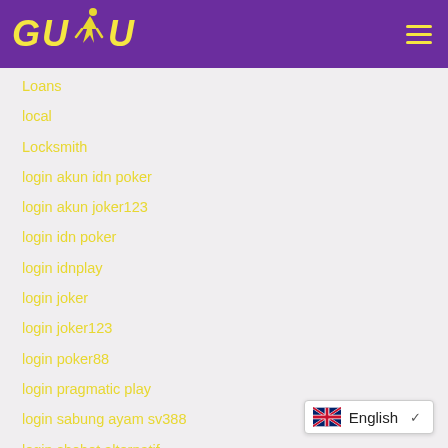[Figure (logo): GUDU logo with yellow text and running figure icon on purple background, with hamburger menu icon on right]
Loans
local
Locksmith
login akun idn poker
login akun joker123
login idn poker
login idnplay
login joker
login joker123
login poker88
login pragmatic play
login sabung ayam sv388
login sbobet alternatif
[Figure (other): Language selector dropdown showing UK flag and English label with chevron]